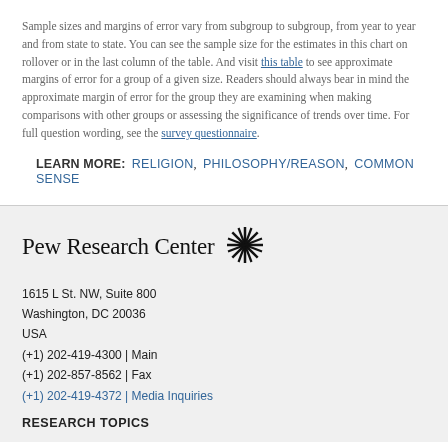Sample sizes and margins of error vary from subgroup to subgroup, from year to year and from state to state. You can see the sample size for the estimates in this chart on rollover or in the last column of the table. And visit this table to see approximate margins of error for a group of a given size. Readers should always bear in mind the approximate margin of error for the group they are examining when making comparisons with other groups or assessing the significance of trends over time. For full question wording, see the survey questionnaire.
LEARN MORE:  RELIGION,  PHILOSOPHY/REASON,  COMMON SENSE
Pew Research Center
1615 L St. NW, Suite 800
Washington, DC 20036
USA
(+1) 202-419-4300 | Main
(+1) 202-857-8562 | Fax
(+1) 202-419-4372 | Media Inquiries
RESEARCH TOPICS